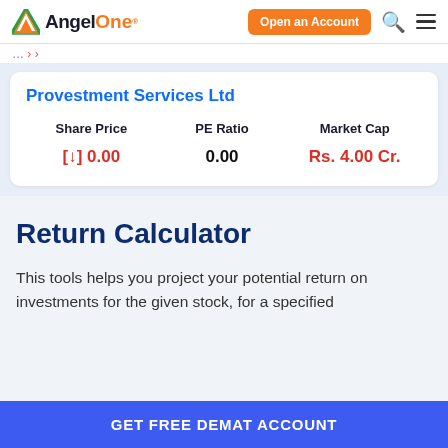AngelOne — Open an Account
Provestment Services Ltd
| Share Price | PE Ratio | Market Cap |
| --- | --- | --- |
| [↓] 0.00 | 0.00 | Rs. 4.00 Cr. |
Return Calculator
This tools helps you project your potential return on investments for the given stock, for a specified
GET FREE DEMAT ACCOUNT